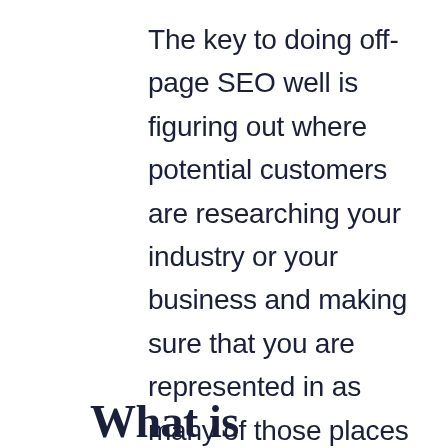The key to doing off-page SEO well is figuring out where potential customers are researching your industry or your business and making sure that you are represented in as many of those places as possible.
What is